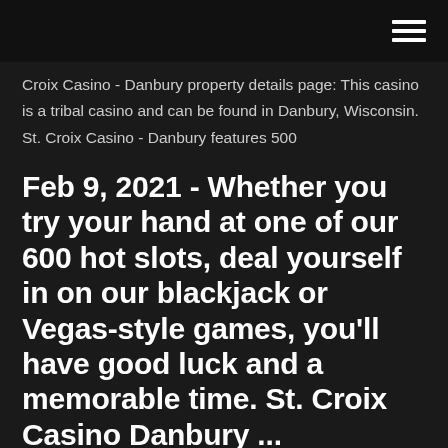Croix Casino - Danbury property details page: This casino is a tribal casino and can be found in Danbury, Wisconsin. St. Croix Casino - Danbury features 500
Feb 9, 2021 - Whether you try your hand at one of our 600 hot slots, deal yourself in on our blackjack or Vegas-style games, you'll have good luck and a memorable time. St. Croix Casino Danbury ...
Friendly and Helpful Staff. Need directions? Extra towels? You name it! We're here to help make your St. Croix Casino